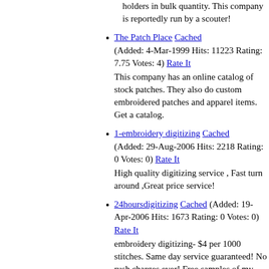holders in bulk quantity. This company is reportedly run by a scouter!
The Patch Place Cached
(Added: 4-Mar-1999 Hits: 11223 Rating: 7.75 Votes: 4) Rate It
This company has an online catalog of stock patches. They also do custom embroidered patches and apparel items. Get a catalog.
1-embroidery digitizing Cached
(Added: 29-Aug-2006 Hits: 2218 Rating: 0 Votes: 0) Rate It
High quality digitizing service , Fast turn around ,Great price service!
24hoursdigitizing Cached (Added: 19-Apr-2006 Hits: 1673 Rating: 0 Votes: 0)
Rate It
embroidery digitizing- $4 per 1000 stitches. Same day service guaranteed! No rush charges ever! Free samples of my work available